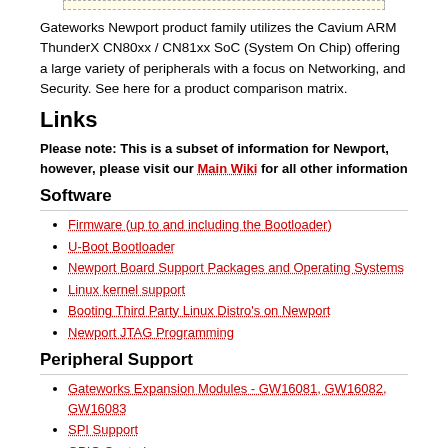[Figure (other): Top image placeholder bar with dashed border and light yellow background]
Gateworks Newport product family utilizes the Cavium ARM ThunderX CN80xx / CN81xx SoC (System On Chip) offering a large variety of peripherals with a focus on Networking, and Security. See here for a product comparison matrix.
Links
Please note: This is a subset of information for Newport, however, please visit our Main Wiki for all other information
Software
Firmware (up to and including the Bootloader)
U-Boot Bootloader
Newport Board Support Packages and Operating Systems
Linux kernel support
Booting Third Party Linux Distro's on Newport
Newport JTAG Programming
Peripheral Support
Gateworks Expansion Modules - GW16081, GW16082, GW16083
SPI Support
GPIO Control
LED Control
Connector and Cable Information